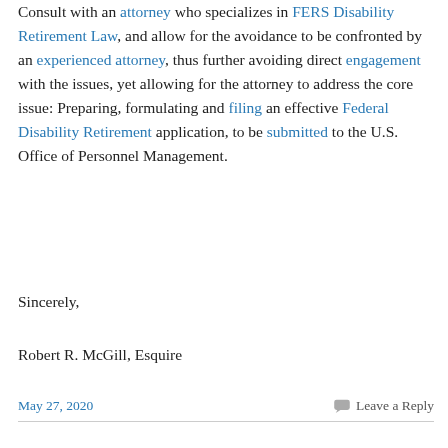Consult with an attorney who specializes in FERS Disability Retirement Law, and allow for the avoidance to be confronted by an experienced attorney, thus further avoiding direct engagement with the issues, yet allowing for the attorney to address the core issue: Preparing, formulating and filing an effective Federal Disability Retirement application, to be submitted to the U.S. Office of Personnel Management.
Sincerely,
Robert R. McGill, Esquire
May 27, 2020   Leave a Reply